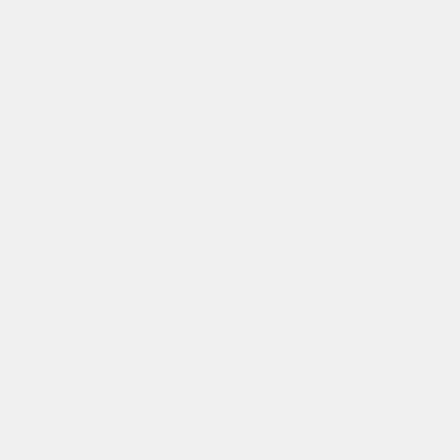Downloads
Sol 3219: Mars Hand Lens Imager (MAHLI)
image/jpeg
DOWNLOAD
Embed
Embed this resource by pasting the following code into your website:
<iframe src="https://mars.nasa.gov/raw_images/embed/070000" width="400" height="400"